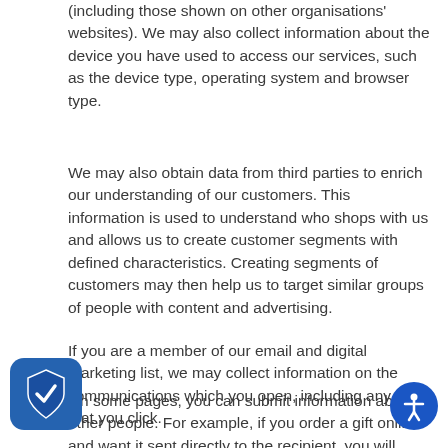(including those shown on other organisations' websites). We may also collect information about the device you have used to access our services, such as the device type, operating system and browser type.
We may also obtain data from third parties to enrich our understanding of our customers. This information is used to understand who shops with us and allows us to create customer segments with defined characteristics. Creating segments of customers may then help us to target similar groups of people with content and advertising.
If you are a member of our email and digital marketing list, we may collect information on the communications which you open, including any links that you click.
On some pages, you can submit information about other people. For example, if you order a gift online and want it sent directly to the recipient, you will need to submit the recipient's address. In this circumstance, the types